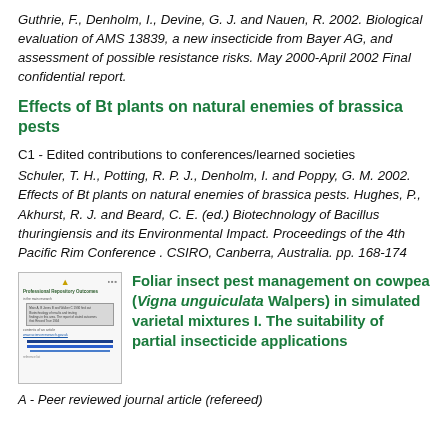Guthrie, F., Denholm, I., Devine, G. J. and Nauen, R. 2002. Biological evaluation of AMS 13839, a new insecticide from Bayer AG, and assessment of possible resistance risks. May 2000-April 2002 Final confidential report.
Effects of Bt plants on natural enemies of brassica pests
C1 - Edited contributions to conferences/learned societies
Schuler, T. H., Potting, R. P. J., Denholm, I. and Poppy, G. M. 2002. Effects of Bt plants on natural enemies of brassica pests. Hughes, P., Akhurst, R. J. and Beard, C. E. (ed.) Biotechnology of Bacillus thuringiensis and its Environmental Impact. Proceedings of the 4th Pacific Rim Conference . CSIRO, Canberra, Australia. pp. 168-174
[Figure (screenshot): Thumbnail image of a document page showing a research report layout with title, body text, a gray box with text, hyperlinks, and blue horizontal lines.]
Foliar insect pest management on cowpea (Vigna unguiculata Walpers) in simulated varietal mixtures I. The suitability of partial insecticide applications
A - Peer reviewed journal article (refereed)